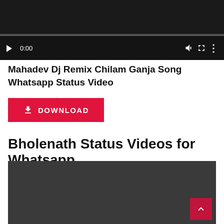[Figure (screenshot): Video player with dark background, play button, time 0:00, volume icon, fullscreen icon, and options icon. Progress bar at bottom of player.]
Mahadev Dj Remix Chilam Ganja Song Whatsapp Status Video
DOWNLOAD
Bholenath Status Videos for Whatsapp
[Figure (screenshot): Dark gray video player area with a back-to-top button (red with up arrow) in the bottom right corner.]